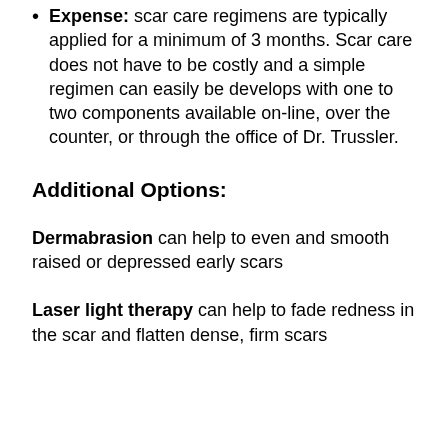Expense: scar care regimens are typically applied for a minimum of 3 months. Scar care does not have to be costly and a simple regimen can easily be develops with one to two components available on-line, over the counter, or through the office of Dr. Trussler.
Additional Options:
Dermabrasion can help to even and smooth raised or depressed early scars
Laser light therapy can help to fade redness in the scar and flatten dense, firm scars